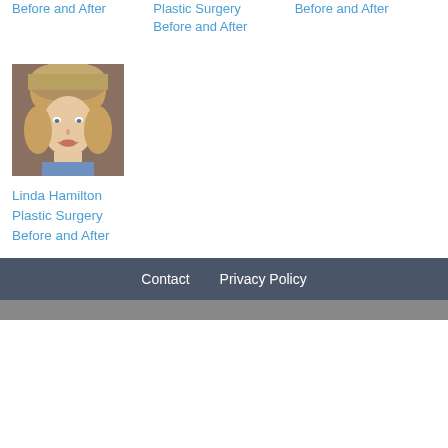Before and After
Plastic Surgery Before and After
Before and After
[Figure (photo): Portrait photo of a young woman wearing a fur hat, with medium-length blonde hair, smiling slightly]
Linda Hamilton Plastic Surgery Before and After
Contact   Privacy Policy